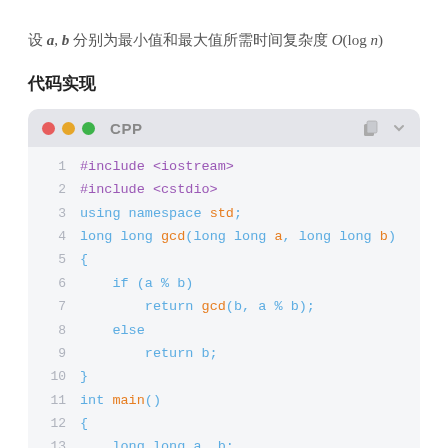设 a, b 分别为最小值和最大值所需时间复杂度 O(log n)
代码实现
[Figure (screenshot): C++ code block showing a GCD function implementation with syntax highlighting. Lines 1-13 visible: #include <iostream>, #include <cstdio>, using namespace std;, long long gcd(long long a, long long b), {, if (a % b), return gcd(b, a % b);, else, return b;, }, int main(), {, long long a, b;]